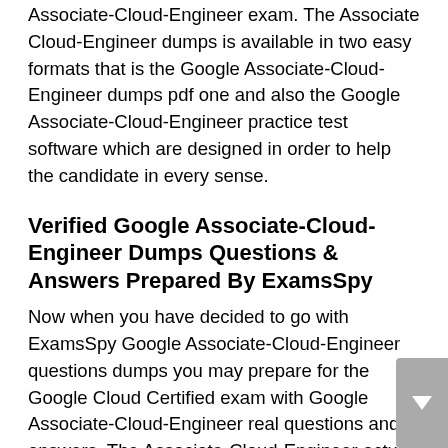Associate-Cloud-Engineer exam. The Associate Cloud-Engineer dumps is available in two easy formats that is the Google Associate-Cloud-Engineer dumps pdf one and also the Google Associate-Cloud-Engineer practice test software which are designed in order to help the candidate in every sense.
Verified Google Associate-Cloud-Engineer Dumps Questions & Answers Prepared By ExamsSpy
Now when you have decided to go with ExamsSpy Google Associate-Cloud-Engineer questions dumps you may prepare for the Google Cloud Certified exam with Google Associate-Cloud-Engineer real questions and answers. The Associate-Cloud-Engineer actual questions and answers pdf format can be either downloaded in any of the smart devices, PC